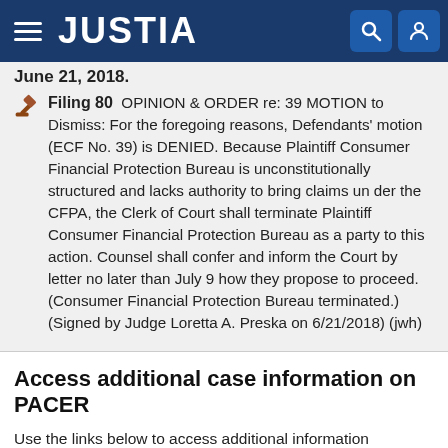JUSTIA
June 21, 2018.
Filing 80  OPINION & ORDER re: 39 MOTION to Dismiss: For the foregoing reasons, Defendants' motion (ECF No. 39) is DENIED. Because Plaintiff Consumer Financial Protection Bureau is unconstitutionally structured and lacks authority to bring claims un der the CFPA, the Clerk of Court shall terminate Plaintiff Consumer Financial Protection Bureau as a party to this action. Counsel shall confer and inform the Court by letter no later than July 9 how they propose to proceed. (Consumer Financial Protection Bureau terminated.) (Signed by Judge Loretta A. Preska on 6/21/2018) (jwh)
Access additional case information on PACER
Use the links below to access additional information